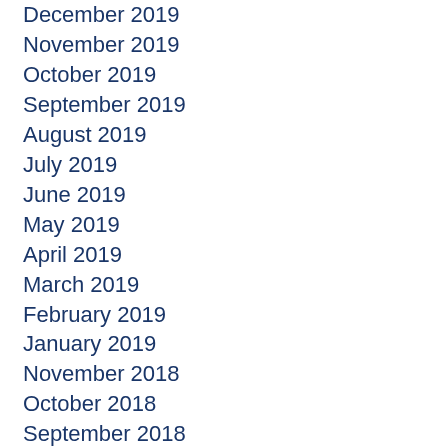December 2019
November 2019
October 2019
September 2019
August 2019
July 2019
June 2019
May 2019
April 2019
March 2019
February 2019
January 2019
November 2018
October 2018
September 2018
August 2018
July 2018
June 2018
May 2018